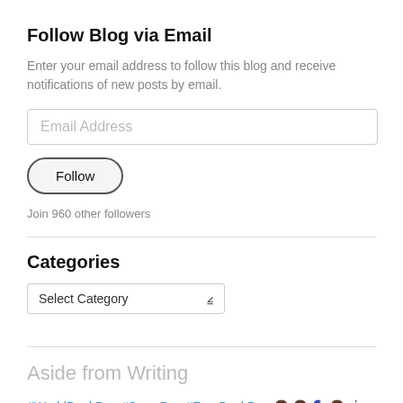Follow Blog via Email
Enter your email address to follow this blog and receive notifications of new posts by email.
[Figure (screenshot): Email address input field with placeholder text 'Email Address']
[Figure (screenshot): Follow button with rounded pill shape]
Join 960 other followers
Categories
[Figure (screenshot): Dropdown select box with 'Select Category' placeholder and dropdown arrow]
Aside from Writing
#WorldBookDay #SnowDay #FreeBookDay 👧👧🧙‍♀️👧🤖👤 Treat your